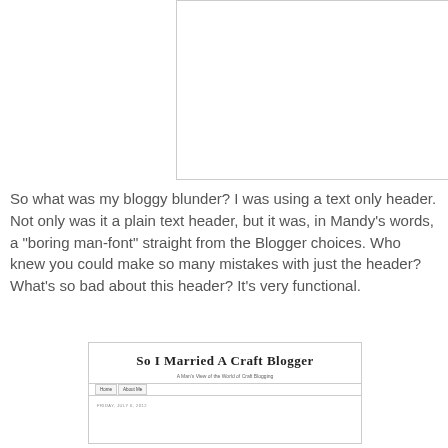[Figure (screenshot): Screenshot of a blog website header area, white/blank content area]
So what was my bloggy blunder? I was using a text only header. Not only was it a plain text header, but it was, in Mandy's words, a "boring man-font" straight from the Blogger choices. Who knew you could make so many mistakes with just the header? What's so bad about this header? It's very functional.
[Figure (screenshot): Screenshot of blog header showing title 'So I Married A Craft Blogger', subtitle 'A Man's View of the World of Craft Blogging', navigation links Home and About Me, and date text FRIDAY, JULY 6, 2012]